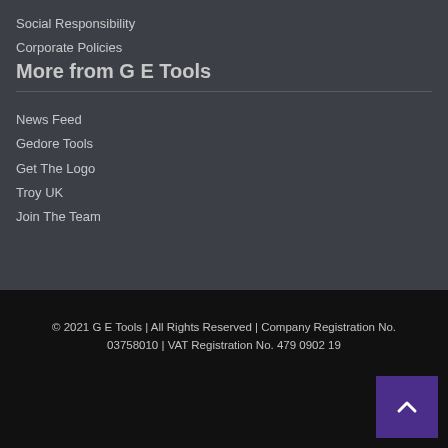Social Responsibility
Corporate Policies
More from G E Tools
News Feed
Gedore Tools
Get The Logo
Troy UK
Join The Team
© 2021 G E Tools | All Rights Reserved | Company Registration No. 03758010 | VAT Registration No. 479 0902 19